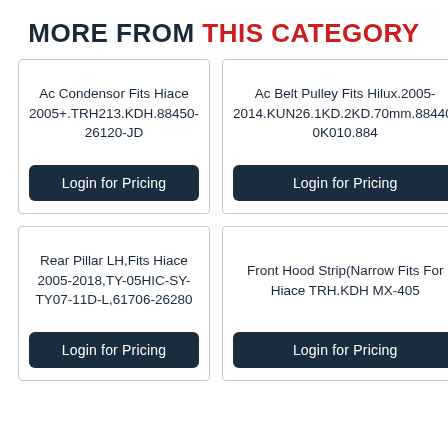MORE FROM THIS CATEGORY
Ac Condensor Fits Hiace 2005+.TRH213.KDH.88450-26120-JD
Login for Pricing
Ac Belt Pulley Fits Hilux.2005-2014.KUN26.1KD.2KD.70mm.88440-0K010.884
Login for Pricing
Rear Pillar LH,Fits Hiace 2005-2018,TY-05HIC-SY-TY07-11D-L,61706-26280
Login for Pricing
Front Hood Strip(Narrow Fits For Hiace TRH.KDH MX-405
Login for Pricing